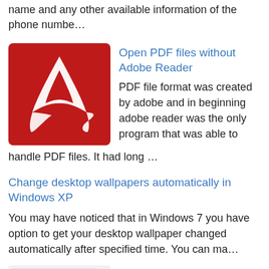name and any other available information of the phone numbe…
[Figure (logo): Adobe Acrobat red square icon with white stylized A logo]
Open PDF files without Adobe Reader
PDF file format was created by adobe and in beginning adobe reader was the only program that was able to handle PDF files. It had long …
Change desktop wallpapers automatically in Windows XP
You may have noticed that in Windows 7 you have option to get your desktop wallpaper changed automatically after specified time. You can ma…
[Figure (screenshot): GPA calculator spreadsheet thumbnail showing a table with grid lines and data cells]
GPA calculator - Calculate your GPA/CGPA and quality points
You don't have to go through all the calculations to calculate you